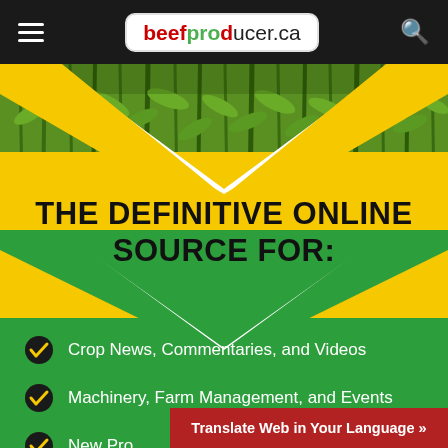beefproducer.ca
[Figure (photo): Green crop field with tall corn/grass plants, viewed from above at an angle, serving as background banner image]
THE DEFINITIVE ONLINE SOURCE FOR:
Crop News, Commentaries, and Videos
Machinery, Farm Management, and Events
New Pro...
Translate Web in Your Language »